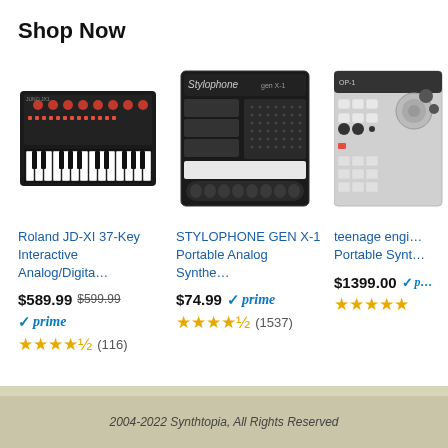Shop Now
[Figure (photo): Roland JD-XI 37-Key synthesizer keyboard, black with red knobs and white/black keys]
Roland JD-XI 37-Key Interactive Analog/Digita...
$589.99 $599.99 prime (116) 4.5 stars
[Figure (photo): STYLOPHONE GEN X-1 Portable Analog Synthesizer, black rectangular device with speaker grille]
STYLOPHONE GEN X-1 Portable Analog Synthe...
$74.99 prime (1537) 4.5 stars
[Figure (photo): Teenage Engineering Portable Synthesizer, partially visible on the right edge]
teenage engi... Portable Synt...
$1399.00 prime stars
2004-2022 Synthtopia, All Rights Reserved